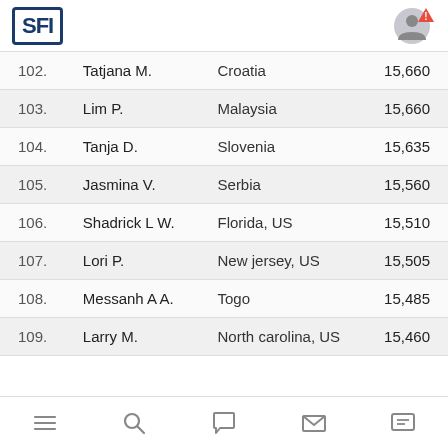SFI Logo
| Rank | Name | Location | Score |
| --- | --- | --- | --- |
| 102. | Tatjana M. | Croatia | 15,660 |
| 103. | Lim P. | Malaysia | 15,660 |
| 104. | Tanja D. | Slovenia | 15,635 |
| 105. | Jasmina V. | Serbia | 15,560 |
| 106. | Shadrick L W. | Florida, US | 15,510 |
| 107. | Lori P. | New jersey, US | 15,505 |
| 108. | Messanh A A. | Togo | 15,485 |
| 109. | Larry M. | North carolina, US | 15,460 |
Navigation bar with menu, search, chat, mail, and message icons